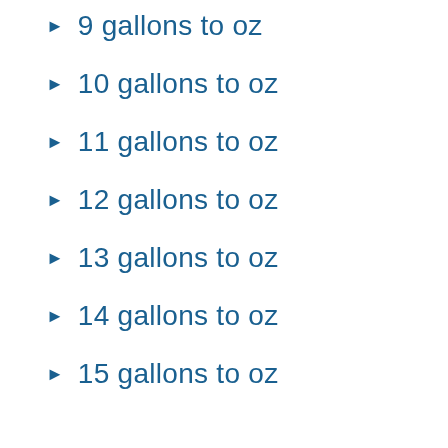9 gallons to oz
10 gallons to oz
11 gallons to oz
12 gallons to oz
13 gallons to oz
14 gallons to oz
15 gallons to oz